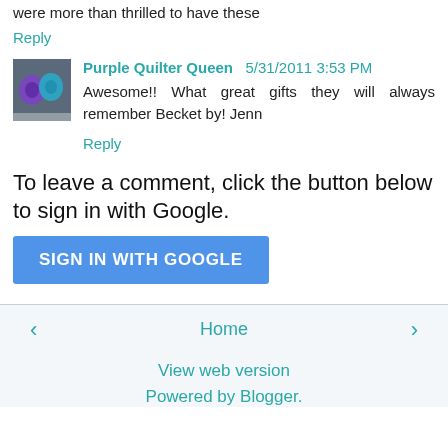were more than thrilled to have these
Reply
Purple Quilter Queen  5/31/2011 3:53 PM
Awesome!! What great gifts they will always remember Becket by! Jenn
Reply
To leave a comment, click the button below to sign in with Google.
SIGN IN WITH GOOGLE
Home
View web version
Powered by Blogger.